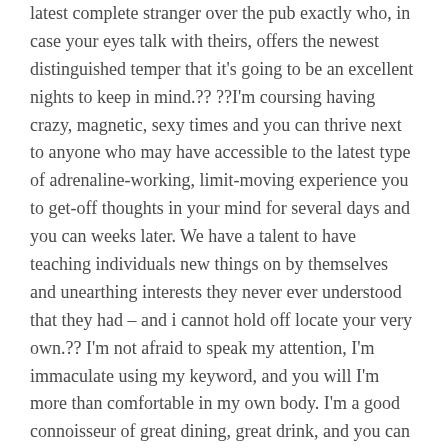latest complete stranger over the pub exactly who, in case your eyes talk with theirs, offers the newest distinguished temper that it's going to be an excellent nights to keep in mind.?? ??I'm coursing having crazy, magnetic, sexy times and you can thrive next to anyone who may have accessible to the latest type of adrenaline-working, limit-moving experience you to get-off thoughts in your mind for several days and you can weeks later. We have a talent to have teaching individuals new things on by themselves and unearthing interests they never ever understood that they had – and i cannot hold off locate your very own.?? I'm not afraid to speak my attention, I'm immaculate using my keyword, and you will I'm more than comfortable in my own body. I'm a good connoisseur of great dining, great drink, and you can an enthusiast to any or all pleasures of outside.?? What are you awaiting....why don't we cut off! Emerald In case your looking fun, you're looking regarding best source